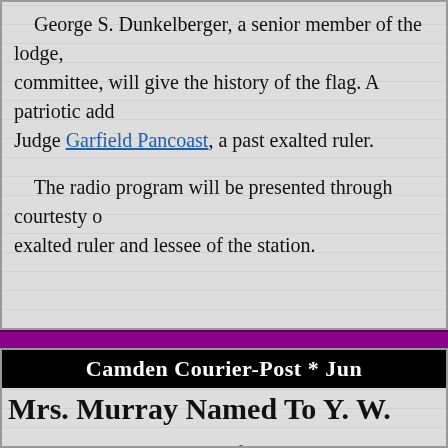George S. Dunkelberger, a senior member of the lodge, committee, will give the history of the flag. A patriotic add Judge Garfield Pancoast, a past exalted ruler.
The radio program will be presented through courtesty exalted ruler and lessee of the station.
Camden Courier-Post * Jun
Mrs. Murray Named To Y. W.
Mrs. Charles T. Murray, of Haddon Heights, has been n of Mrs. Guy C. Morrill, of Merchantville, as president of th Young Women's Christian Association. Mrs. Morrill resign
Mrs. Murray is a former vice president of the board, and until February when election of officers will take place.
Mrs. Arthur J. Casselman, member of the board, has be Camden group for membership on the committee for the ne which the national Y. W. C. A. is organizing for activity in